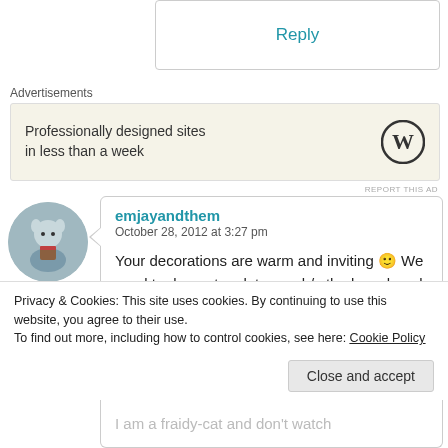Reply
Advertisements
Professionally designed sites in less than a week
REPORT THIS AD
emjayandthem
October 28, 2012 at 3:27 pm
Your decorations are warm and inviting 🙂 We used to decorate a lot more b/c the boys loved it .. but now that they're grown the decorations are simple and child-friendly so as to
Privacy & Cookies: This site uses cookies. By continuing to use this website, you agree to their use.
To find out more, including how to control cookies, see here: Cookie Policy
Close and accept
I am a fraidy-cat and don't watch